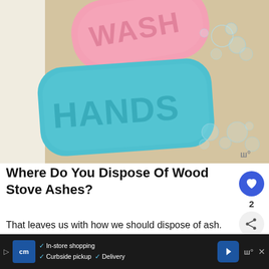[Figure (photo): Two bars of soap — a pink one labeled 'WASH' and a teal/blue one labeled 'HANDS' — surrounded by soap bubbles on a tan background.]
Where Do You Dispose Of Wood Stove Ashes?
That leaves us with how we should dispose of ash. After all, it is not a friendly residue. There are additional steps to consider before you throw it with the rest of the garbage. As some have mentioned,